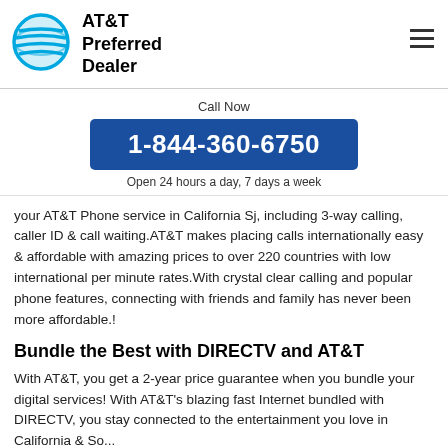AT&T Preferred Dealer
Call Now
1-844-360-6750
Open 24 hours a day, 7 days a week
your AT&T Phone service in California Sj, including 3-way calling, caller ID & call waiting.AT&T makes placing calls internationally easy & affordable with amazing prices to over 220 countries with low international per minute rates.With crystal clear calling and popular phone features, connecting with friends and family has never been more affordable.!
Bundle the Best with DIRECTV and AT&T
With AT&T, you get a 2-year price guarantee when you bundle your digital services! With AT&T's blazing fast Internet bundled with DIRECTV, you stay connected to the entertainment you love in California & So...